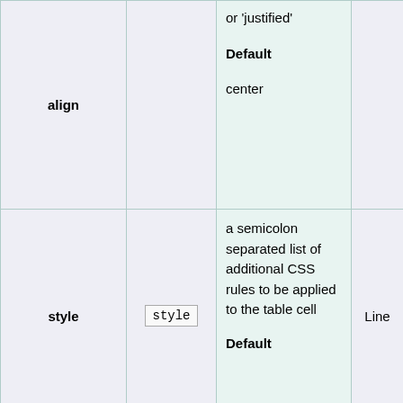|  |  | Description |  |  |
| --- | --- | --- | --- | --- |
| align |  | or 'justified'

Default

center |  |  |
| style | style | a semicolon separated list of additional CSS rules to be applied to the table cell

Default | Line | optic |
|  |  | a valid CSS color value or name to override the standard the |  |  |